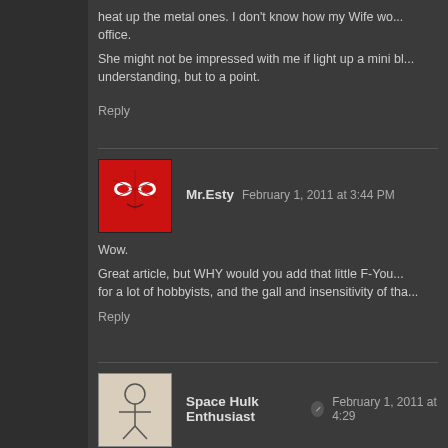heat up the metal ones. I don't know how my Wife wo... office. She might not be impressed with me if light up a mini bl... understanding, but to a point.
Reply
Mr.Esty  February 1, 2011 at 3:44 PM
Wow.
Great article, but WHY would you add that little F-You... for a lot of hobbyists, and the gall and insensitivity of tha...
Reply
Space Hulk Enthusiast  February 1, 2011 at 4:29
Mr. Esty: I know price can be an issue for lots of hobbyis...
Some techniques posted here require substantial invest... a prerequisite of advanced skill and understanding.
I attempt to share both kinds (cheap/easy and expensi... to pick and choose what works best in both categori...